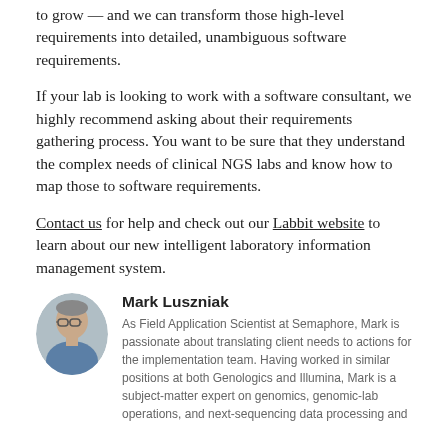to grow — and we can transform those high-level requirements into detailed, unambiguous software requirements.
If your lab is looking to work with a software consultant, we highly recommend asking about their requirements gathering process. You want to be sure that they understand the complex needs of clinical NGS labs and know how to map those to software requirements.
Contact us for help and check out our Labbit website to learn about our new intelligent laboratory information management system.
[Figure (photo): Headshot photo of Mark Luszniak, a man wearing glasses and a blue shirt]
Mark Luszniak
As Field Application Scientist at Semaphore, Mark is passionate about translating client needs to actions for the implementation team. Having worked in similar positions at both Genologics and Illumina, Mark is a subject-matter expert on genomics, genomic-lab operations, and next-sequencing data processing and